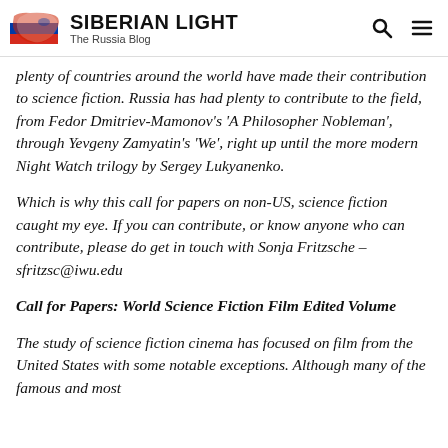SIBERIAN LIGHT – The Russia Blog
plenty of countries around the world have made their contribution to science fiction. Russia has had plenty to contribute to the field, from Fedor Dmitriev-Mamonov's 'A Philosopher Nobleman', through Yevgeny Zamyatin's 'We', right up until the more modern Night Watch trilogy by Sergey Lukyanenko.
Which is why this call for papers on non-US, science fiction caught my eye. If you can contribute, or know anyone who can contribute, please do get in touch with Sonja Fritzsche – sfritzsc@iwu.edu
Call for Papers: World Science Fiction Film Edited Volume
The study of science fiction cinema has focused on film from the United States with some notable exceptions. Although many of the famous and most